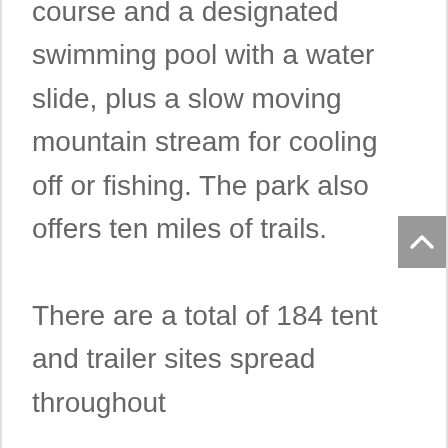course and a designated swimming pool with a water slide, plus a slow moving mountain stream for cooling off or fishing. The park also offers ten miles of trails. There are a total of 184 tent and trailer sites spread throughout